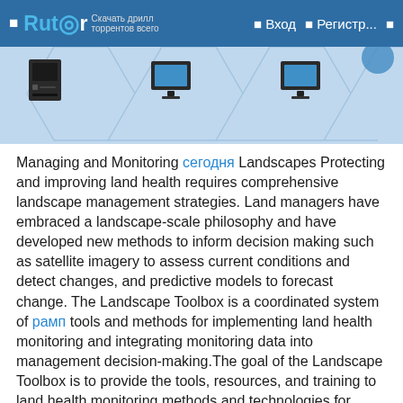☰  Rutor  ☰ Вход  ☰ Регистр...  ☰
[Figure (illustration): Network of computers connected by hexagonal grid lines on a light blue background — multiple desktop towers and monitors shown at nodes.]
Managing and Monitoring сегодня Landscapes Protecting and improving land health requires comprehensive landscape management strategies. Land managers have embraced a landscape-scale philosophy and have developed new methods to inform decision making such as satellite imagery to assess current conditions and detect changes, and predictive models to forecast change. The Landscape Toolbox is a coordinated system of рамп tools and methods for implementing land health monitoring and integrating monitoring data into management decision-making.The goal of the Landscape Toolbox is to provide the tools, resources, and training to land health monitoring methods and technologies for answering land management questions at different scales.Nelson Stauffer Uncategorized 0The core methods described in the Monitoring Manual for Grassland, Shrubland, and Savanna Ecosystems are intended for multiple use. Each method collects data that can be